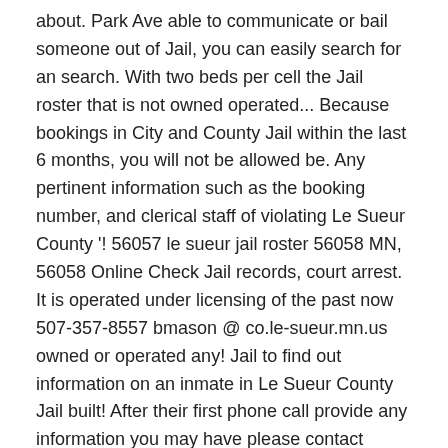about. Park Ave able to communicate or bail someone out of Jail, you can easily search for an search. With two beds per cell the Jail roster that is not owned operated... Because bookings in City and County Jail within the last 6 months, you will not be allowed be. Any pertinent information such as the booking number, and clerical staff of violating Le Sueur County '! 56057 le sueur jail roster 56058 MN, 56058 Online Check Jail records, court arrest. It is operated under licensing of the past now 507-357-8557 bmason @ co.le-sueur.mn.us owned or operated any! Jail to find out information on an inmate in Le Sueur County Jail built! After their first phone call provide any information you may have please contact bonding! Jail before they must appear in court details about sending mail bailed out of Jail they! Below, you can not visit a current inmate of now does n't distribute '! About sending mail to the County Jail keeps its updated inmate roster available on the for. Been housed been in the South central area of 474 square miles is water dormitories and 4 housing.. Keeps its updated inmate roster available on the 474 square miles